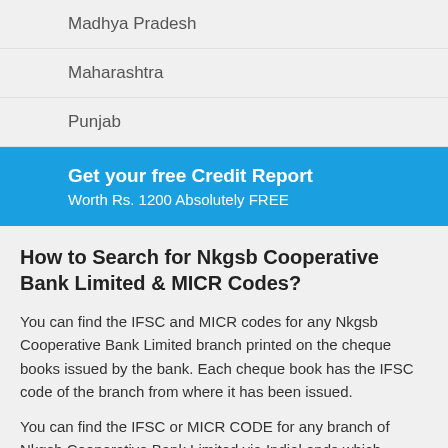Madhya Pradesh
Maharashtra
Punjab
Get your free Credit Report
Worth Rs. 1200 Absolutely FREE
How to Search for Nkgsb Cooperative Bank Limited & MICR Codes?
You can find the IFSC and MICR codes for any Nkgsb Cooperative Bank Limited branch printed on the cheque books issued by the bank. Each cheque book has the IFSC code of the branch from where it has been issued.
You can find the IFSC or MICR CODE for any branch of Nkgsb Cooperative Bank Limited via Indial ends which